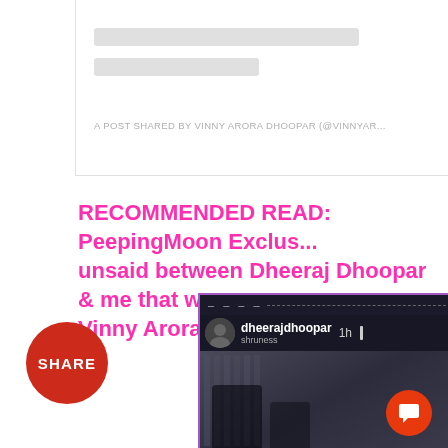[Figure (screenshot): Embedded social media post card with skeleton loading lines and attribution text: A POST SHARED BY VINNY ARORA DHOOPAR (@VINNYAR...]
A POST SHARED BY VINNY ARORA DHOOPAR (@VINNYAR...
RECOMMENDED READ: PeepingMoon Exclus... unsaid between Dheeraj Dhoopar & me that we... Vinny Arora Dhoopar
[Figure (screenshot): Instagram live/story screenshot showing dheerajdhoopar account, 1h ago, with a person in the background behind bars/stripes, and a red chat button overlay]